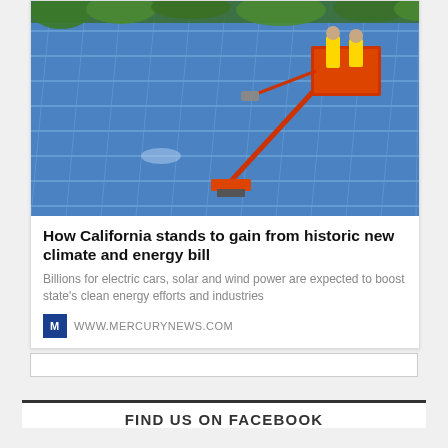[Figure (photo): Workers on a cherry picker / lift platform cleaning or maintaining a large array of blue solar panels, with trees visible in background]
How California stands to gain from historic new climate and energy bill
Billions for electric cars, solar and wind power are expected to boost state's clean energy efforts and industries
WWW.MERCURYNEWS.COM
FIND US ON FACEBOOK